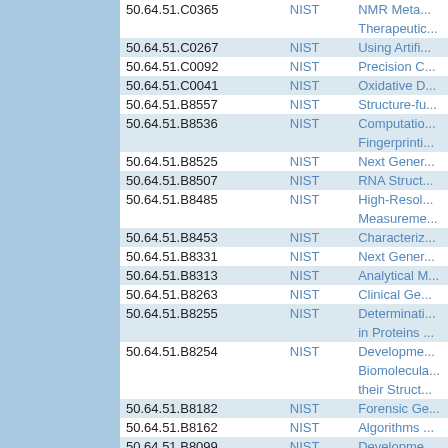| ID | Org | Title |
| --- | --- | --- |
| 50.64.51.C0365 | NIST | NMR Meta... Therapeutic... |
| 50.64.51.C0267 | NIST | Using Artifi... |
| 50.64.51.C0092 | NIST | Precision C... |
| 50.64.51.C0041 | NIST | Oxidative D... |
| 50.64.51.B8557 | NIST | Structure-fu... |
| 50.64.51.B8536 | NIST | Computatio... Fingerprinti... |
| 50.64.51.B8525 | NIST | Next Gener... |
| 50.64.51.B8507 | NIST | RNA Struct... |
| 50.64.51.B8485 | NIST | High-Resol... Measureme... |
| 50.64.51.B8453 | NIST | Characteriz... |
| 50.64.51.B8331 | NIST | Next Gener... |
| 50.64.51.B8313 | NIST | Analytical M... |
| 50.64.51.B8263 | NIST | Clinical Ge... |
| 50.64.51.B8255 | NIST | Determinati... in Proteins ... |
| 50.64.51.B8254 | NIST | Developme... Biomolecula... their Struct... |
| 50.64.51.B8182 | NIST | Forensic Ge... |
| 50.64.51.B8162 | NIST | Algorithms ... |
| 50.64.51.B8099 | NIST | Developme... |
| 50.64.51.B7947 | NIST | Qualitative ... |
| 50.64.51.B7943 | NIST | Engineering... |
| 50.64.51.B7942 | NIST | In vivo Prot... |
| 50.64.51.B7843 | NIST | Differentiati... Standard R... |
| 50.64.51.B7841 | NIST | Numerical M... |
| 50.64.51.B7752 | NIST | Building an... |
| 50.64.51.B7716 | NIST | Mass Spec... |
| 50.64.51.B7685 | NIST | Analytical T... Characteriz... |
| 50.64.51.B7662 | NIST | Microfluidic... |
| 50.64.51.B7388 | NIST | Mass Spec... |
| 50.64.51.B7204 | NIST | RNA Struct... Magnetic R... |